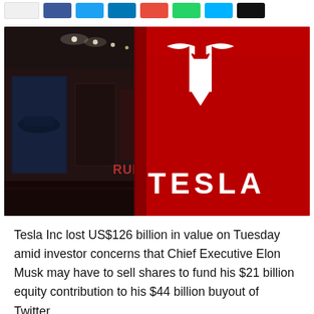[Social share buttons bar]
[Figure (photo): Interior of a Tesla showroom with a large red wall displaying the Tesla logo (white T symbol) and the word TESLA in white letters. Dark hallway visible on the left with car displays and murals.]
Tesla Inc lost US$126 billion in value on Tuesday amid investor concerns that Chief Executive Elon Musk may have to sell shares to fund his $21 billion equity contribution to his $44 billion buyout of Twitter.